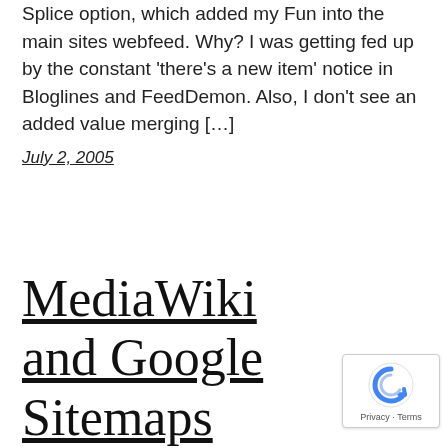Splice option, which added my Fun into the main sites webfeed. Why? I was getting fed up by the constant 'there's a new item' notice in Bloglines and FeedDemon. Also, I don't see an added value merging […]
July 2, 2005
MediaWiki and Google Sitemaps